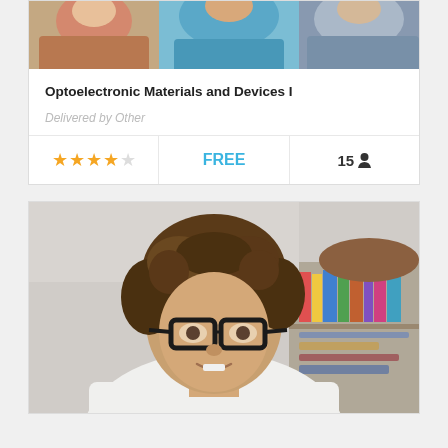[Figure (photo): Top portion of a course card showing a group of people (partially cropped at top of page)]
Optoelectronic Materials and Devices I
Delivered by Other
★★★★☆  FREE  15 👤
[Figure (photo): Young man with curly hair and black-rimmed glasses, wearing a white t-shirt, with bookshelves in the background]